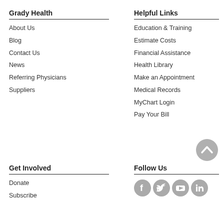Grady Health
About Us
Blog
Contact Us
News
Referring Physicians
Suppliers
Helpful Links
Education & Training
Estimate Costs
Financial Assistance
Health Library
Make an Appointment
Medical Records
MyChart Login
Pay Your Bill
Get Involved
Donate
Subscribe
Follow Us
[Figure (illustration): Social media icons: Facebook, Twitter, YouTube, LinkedIn - gray circular icons]